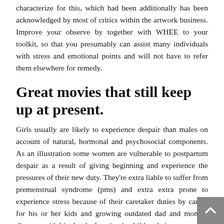characterize for this, which had been additionally has been acknowledged by most of critics within the artwork business. Improve your observe by together with WHEE to your toolkit, so that you presumably can assist many individuals with stress and emotional points and will not have to refer them elsewhere for remedy.
Great movies that still keep up at present.
Girls usually are likely to experience despair than males on account of natural, hormonal and psychosocial components. As an illustration some women are vulnerable to postpartum despair as a result of giving beginning and experience the pressures of their new duty. They're extra liable to suffer from premenstrual syndrome (pms) and extra extra prone to experience stress because of their caretaker duties by caring for his or her kids and growing outdated dad and mom. I disagree with bipolar dysfunction in children being a money